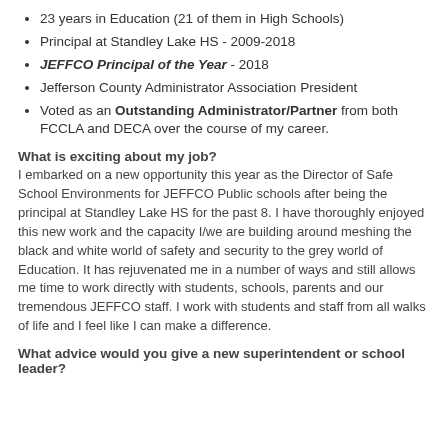23 years in Education (21 of them in High Schools)
Principal at Standley Lake HS - 2009-2018
JEFFCO Principal of the Year - 2018
Jefferson County Administrator Association President
Voted as an Outstanding Administrator/Partner from both FCCLA and DECA over the course of my career.
What is exciting about my job?
I embarked on a new opportunity this year as the Director of Safe School Environments for JEFFCO Public schools after being the principal at Standley Lake HS for the past 8. I have thoroughly enjoyed this new work and the capacity I/we are building around meshing the black and white world of safety and security to the grey world of Education. It has rejuvenated me in a number of ways and still allows me time to work directly with students, schools, parents and our tremendous JEFFCO staff. I work with students and staff from all walks of life and I feel like I can make a difference.
What advice would you give a new superintendent or school leader?